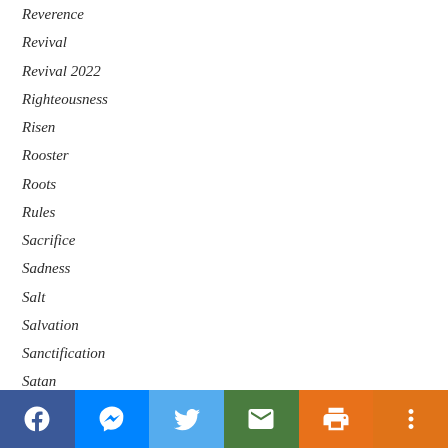Reverence
Revival
Revival 2022
Righteousness
Risen
Rooster
Roots
Rules
Sacrifice
Sadness
Salt
Salvation
Sanctification
Satan
Satisfy